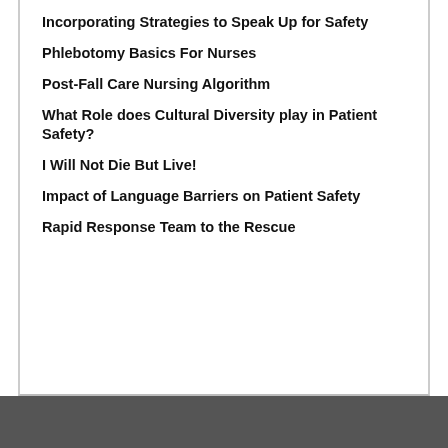Incorporating Strategies to Speak Up for Safety
Phlebotomy Basics For Nurses
Post-Fall Care Nursing Algorithm
What Role does Cultural Diversity play in Patient Safety?
I Will Not Die But Live!
Impact of Language Barriers on Patient Safety
Rapid Response Team to the Rescue